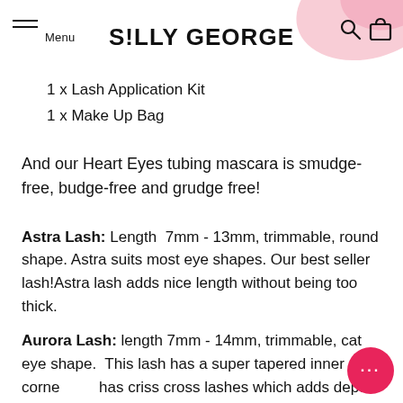S!LLY GEORGE
1 x Lash Application Kit
1 x Make Up Bag
And our Heart Eyes tubing mascara is smudge-free, budge-free and grudge free!
Astra Lash: Length 7mm - 13mm, trimmable, round shape. Astra suits most eye shapes. Our best seller lash!Astra lash adds nice length without being too thick.
Aurora Lash: length 7mm - 14mm, trimmable, cat eye shape. This lash has a super tapered inner corner and has criss cross lashes which adds depth to the lash. The shorter inner lashes that graduate to longer outer lashes are great for creating the 'cat eye' look.